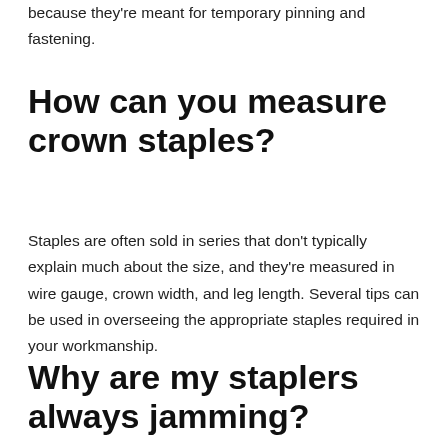because they're meant for temporary pinning and fastening.
How can you measure crown staples?
Staples are often sold in series that don't typically explain much about the size, and they're measured in wire gauge, crown width, and leg length. Several tips can be used in overseeing the appropriate staples required in your workmanship.
Why are my staplers always jamming?